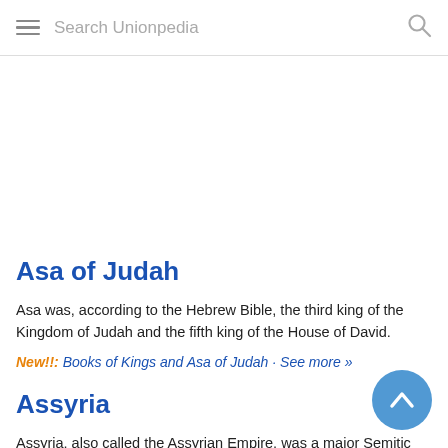Search Unionpedia
Asa of Judah
Asa was, according to the Hebrew Bible, the third king of the Kingdom of Judah and the fifth king of the House of David.
New!!: Books of Kings and Asa of Judah · See more »
Assyria
Assyria, also called the Assyrian Empire, was a major Semitic...